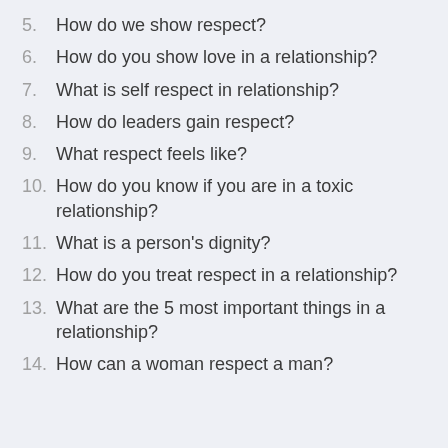5. How do we show respect?
6. How do you show love in a relationship?
7. What is self respect in relationship?
8. How do leaders gain respect?
9. What respect feels like?
10. How do you know if you are in a toxic relationship?
11. What is a person's dignity?
12. How do you treat respect in a relationship?
13. What are the 5 most important things in a relationship?
14. How can a woman respect a man?